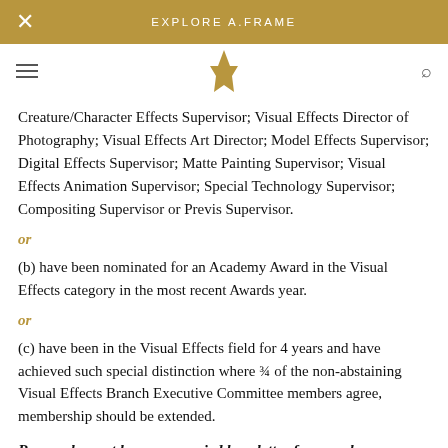EXPLORE A.FRAME
Visual Effects Supervisor; Mechanical/Special Effects (2D); Matte Artist; Digital Artist;
Creature/Character Effects Supervisor; Visual Effects Director of Photography; Visual Effects Art Director; Model Effects Supervisor; Digital Effects Supervisor; Matte Painting Supervisor; Visual Effects Animation Supervisor; Special Technology Supervisor; Compositing Supervisor or Previs Supervisor.
or
(b) have been nominated for an Academy Award in the Visual Effects category in the most recent Awards year.
or
(c) have been in the Visual Effects field for 4 years and have achieved such special distinction where ¾ of the non-abstaining Visual Effects Branch Executive Committee members agree, membership should be extended.
Proposals must be accompanied by a letter from each sponsor